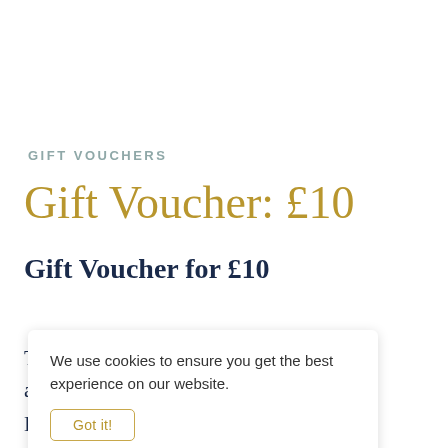GIFT VOUCHERS
Gift Voucher: £10
Gift Voucher for £10
T...e purchase of a...
E...ve card. The voucher contains a discount code that can be used...
We use cookies to ensure you get the best experience on our website.
Got it!